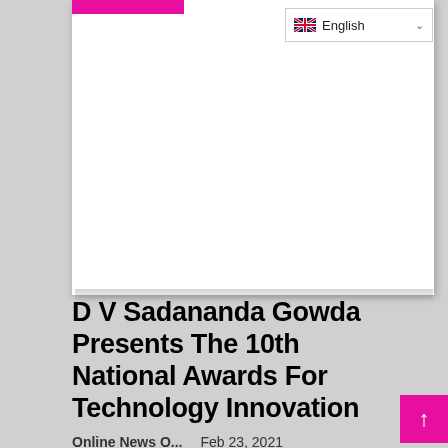[Figure (screenshot): Language selector dropdown showing English with UK flag, and a white content card area above the article]
D V Sadananda Gowda Presents The 10th National Awards For Technology Innovation
Online News O...   Feb 23, 2021
Union Minister of Chemicals & Fertilizers, D V Sadananda Gowda, presented the 10th National